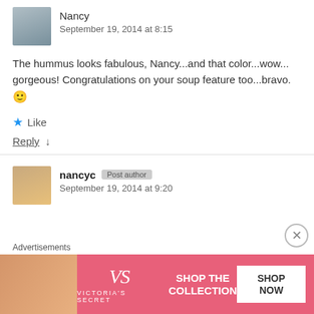[Figure (photo): User avatar photo of Nancy, a woman]
Nancy
September 19, 2014 at 8:15
The hummus looks fabulous, Nancy...and that color...wow...gorgeous! Congratulations on your soup feature too...bravo. 🙂
★ Like
Reply ↓
[Figure (photo): User avatar photo of nancyc showing a cupcake]
nancyc
September 19, 2014 at 9:20
Advertisements
[Figure (photo): Victoria's Secret advertisement banner with pink background, model photo, VS logo, SHOP THE COLLECTION text, and SHOP NOW button]